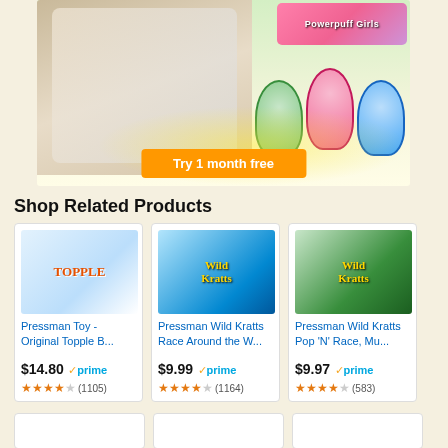[Figure (illustration): Promotional banner ad featuring a girl with a tablet, Powerpuff Girls cartoon characters, and a 'Try 1 month free' orange button]
Shop Related Products
[Figure (photo): Pressman Toy - Original Topple board game box with colorful stacking game pieces]
Pressman Toy - Original Topple B...
$14.80 ✓prime ★★★★☆ (1105)
[Figure (photo): Pressman Wild Kratts Race Around the World game box, 2nd edition, blue lightning bolt design]
Pressman Wild Kratts Race Around the W...
$9.99 ✓prime ★★★★☆ (1164)
[Figure (photo): Pressman Wild Kratts Pop 'N' Race game box, green and blue design with characters]
Pressman Wild Kratts Pop 'N' Race, Mu...
$9.97 ✓prime ★★★★☆ (583)